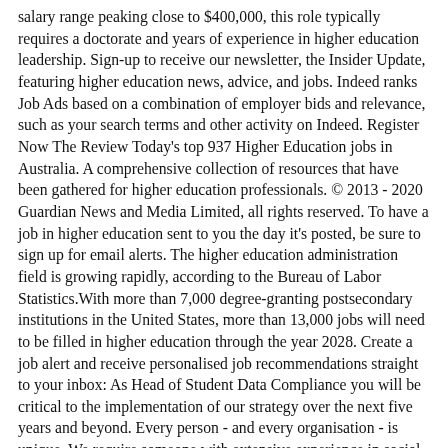salary range peaking close to $400,000, this role typically requires a doctorate and years of experience in higher education leadership. Sign-up to receive our newsletter, the Insider Update, featuring higher education news, advice, and jobs. Indeed ranks Job Ads based on a combination of employer bids and relevance, such as your search terms and other activity on Indeed. Register Now The Review Today's top 937 Higher Education jobs in Australia. A comprehensive collection of resources that have been gathered for higher education professionals. © 2013 - 2020 Guardian News and Media Limited, all rights reserved. To have a job in higher education sent to you the day it's posted, be sure to sign up for email alerts. The higher education administration field is growing rapidly, according to the Bureau of Labor Statistics.With more than 7,000 degree-granting postsecondary institutions in the United States, more than 13,000 jobs will need to be filled in higher education through the year 2028. Create a job alert and receive personalised job recommendations straight to your inbox: As Head of Student Data Compliance you will be critical to the implementation of our strategy over the next five years and beyond. Every person - and every organisation - is unique. We require someone with extensive experience in social work or social care, who is able to demonstrate commitment to support our students. Powered by Madgex Job Board Platform, SEARCH 25,778 CAREER OPPORTUNITIES IN HIGHER EDUCATION, Vice President of Diversity, Equity and Inclusion, Associate/Full